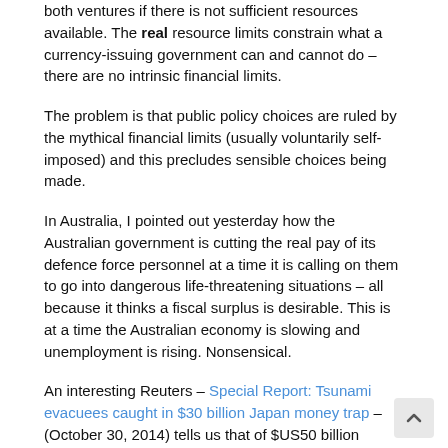both ventures if there is not sufficient resources available. The real resource limits constrain what a currency-issuing government can and cannot do – there are no intrinsic financial limits.
The problem is that public policy choices are ruled by the mythical financial limits (usually voluntarily self-imposed) and this precludes sensible choices being made.
In Australia, I pointed out yesterday how the Australian government is cutting the real pay of its defence force personnel at a time it is calling on them to go into dangerous life-threatening situations – all because it thinks a fiscal surplus is desirable. This is at a time the Australian economy is slowing and unemployment is rising. Nonsensical.
An interesting Reuters – Special Report: Tsunami evacuees caught in $30 billion Japan money trap – (October 30, 2014) tells us that of $US50 billion allocated by the Japanese government for reconstruction: